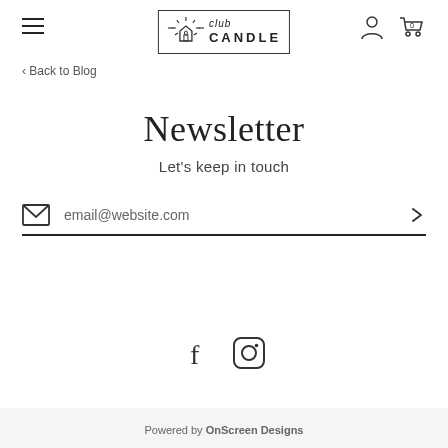Club Candle — hamburger menu, logo, user icon, cart (0)
Back to Blog
Newsletter
Let's keep in touch
email@website.com
[Figure (other): Social media icons: Facebook (f) and Instagram (circle with inner shapes)]
Powered by OnScreen Designs